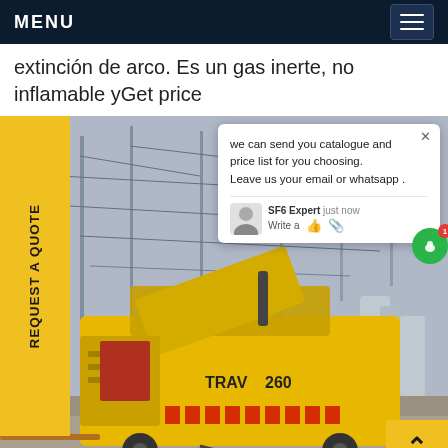MENU
extinción de arco. Es un gas inerte, no inflamable yGet price
[Figure (photo): Yellow industrial SF6 gas recovery/handling vehicle (TRAV 260 model) parked at an electrical substation with high-voltage transmission towers and equipment in the background. A chat popup overlay is visible in the top-right of the image.]
REQUEST A QUOTE
we can send you catalogue and price list for you choosing. Leave us your email or whatsapp .
SF6 Expert    just now
Write a